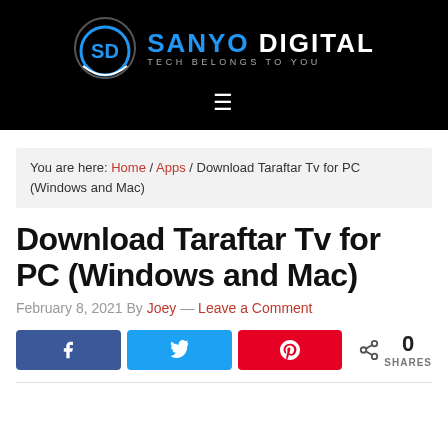[Figure (logo): Sanyo Digital logo with circular SD emblem and text 'SANYO DIGITAL / TECH BELONGS TO YOU' on black background with hamburger menu icon below]
You are here: Home / Apps / Download Taraftar Tv for PC (Windows and Mac)
Download Taraftar Tv for PC (Windows and Mac)
February 8, 2021 By Joey — Leave a Comment
[Figure (infographic): Social share buttons: Facebook (blue), Twitter (blue), Pinterest (red), and share count showing 0 SHARES]